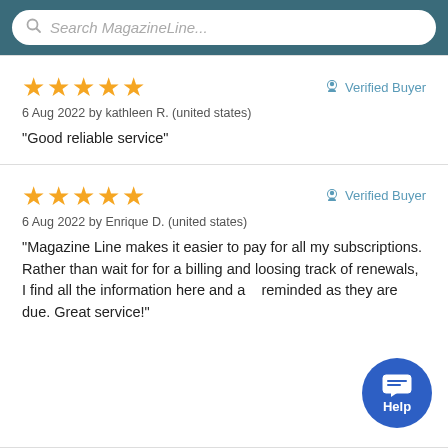Search MagazineLine...
6 Aug 2022 by kathleen R. (united states) — ★★★★★ — Verified Buyer — "Good reliable service"
6 Aug 2022 by Enrique D. (united states) — ★★★★★ — Verified Buyer — "Magazine Line makes it easier to pay for all my subscriptions. Rather than wait for for a billing and loosing track of renewals, I find all the information here and am reminded as they are due. Great service!"